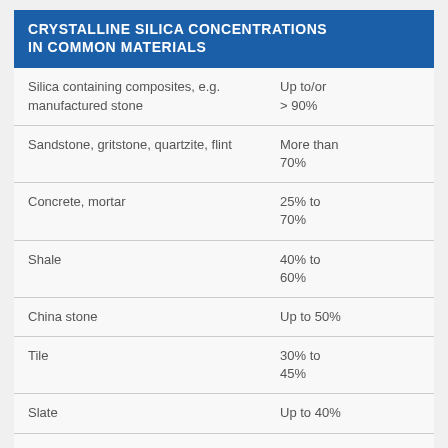| CRYSTALLINE SILICA CONCENTRATIONS IN COMMON MATERIALS |  |
| --- | --- |
| Silica containing composites, e.g. manufactured stone | Up to/or > 90% |
| Sandstone, gritstone, quartzite, flint | More than 70% |
| Concrete, mortar | 25% to 70% |
| Shale | 40% to 60% |
| China stone | Up to 50% |
| Tile | 30% to 45% |
| Slate | Up to 40% |
| Granite | Up to 30% |